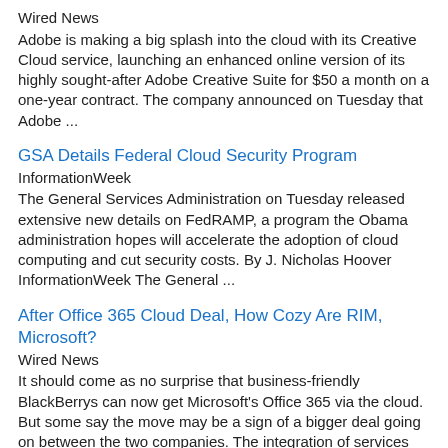Wired News
Adobe is making a big splash into the cloud with its Creative Cloud service, launching an enhanced online version of its highly sought-after Adobe Creative Suite for $50 a month on a one-year contract. The company announced on Tuesday that Adobe ...
GSA Details Federal Cloud Security Program
InformationWeek
The General Services Administration on Tuesday released extensive new details on FedRAMP, a program the Obama administration hopes will accelerate the adoption of cloud computing and cut security costs. By J. Nicholas Hoover InformationWeek The General ...
After Office 365 Cloud Deal, How Cozy Are RIM, Microsoft?
Wired News
It should come as no surprise that business-friendly BlackBerrys can now get Microsoft's Office 365 via the cloud. But some say the move may be a sign of a bigger deal going on between the two companies. The integration of services has been in the ...